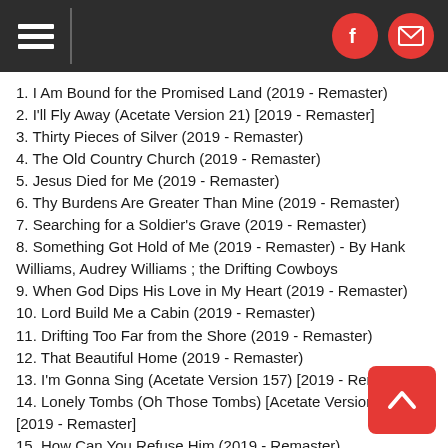Header navigation with hamburger menu, Facebook icon, and mail icon
1. I Am Bound for the Promised Land (2019 - Remaster)
2. I'll Fly Away (Acetate Version 21) [2019 - Remaster]
3. Thirty Pieces of Silver (2019 - Remaster)
4. The Old Country Church (2019 - Remaster)
5. Jesus Died for Me (2019 - Remaster)
6. Thy Burdens Are Greater Than Mine (2019 - Remaster)
7. Searching for a Soldier's Grave (2019 - Remaster)
8. Something Got Hold of Me (2019 - Remaster) - By Hank Williams, Audrey Williams ; the Drifting Cowboys
9. When God Dips His Love in My Heart (2019 - Remaster)
10. Lord Build Me a Cabin (2019 - Remaster)
11. Drifting Too Far from the Shore (2019 - Remaster)
12. That Beautiful Home (2019 - Remaster)
13. I'm Gonna Sing (Acetate Version 157) [2019 - Remaster]
14. Lonely Tombs (Oh Those Tombs) [Acetate Version 7] [2019 - Remaster]
15. How Can You Refuse Him (2019 - Remaster)
16. Where He Leads Me (2019 - Remaster)
17. At the Cross (2019 - Remaster)